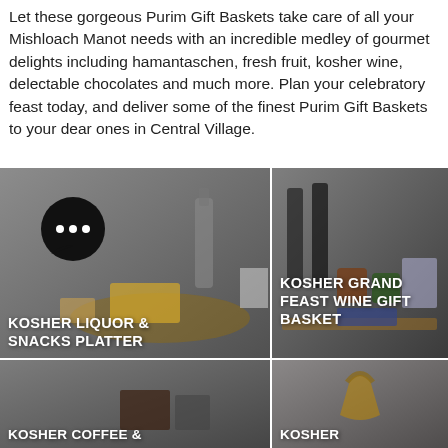Let these gorgeous Purim Gift Baskets take care of all your Mishloach Manot needs with an incredible medley of gourmet delights including hamantaschen, fresh fruit, kosher wine, delectable chocolates and much more. Plan your celebratory feast today, and deliver some of the finest Purim Gift Baskets to your dear ones in Central Village.
[Figure (photo): Top-left: Photo of kosher liquor and snacks platter on a wooden board, grey background. Label reads KOSHER LIQUOR & SNACKS PLATTER]
[Figure (photo): Top-right: Photo of kosher grand feast wine gift basket with bottles, jars, boxes. Label reads KOSHER GRAND FEAST WINE GIFT BASKET]
[Figure (photo): Bottom-left: Photo partially visible with chat bubble overlay. Label reads KOSHER COFFEE &]
[Figure (photo): Bottom-right: Photo of a kosher gift basket with handle. Label reads KOSHER]